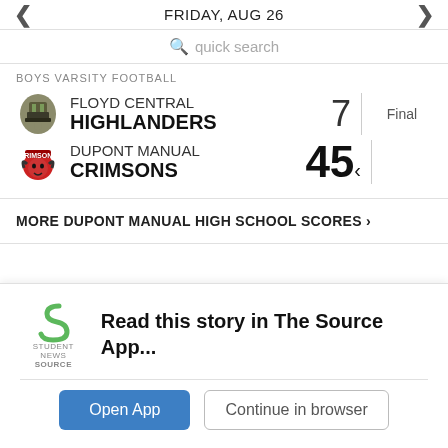FRIDAY, AUG 26
quick search
BOYS VARSITY FOOTBALL
| Team | Score | Status |
| --- | --- | --- |
| FLOYD CENTRAL HIGHLANDERS | 7 | Final |
| DUPONT MANUAL CRIMSONS | 45 | Final |
MORE DUPONT MANUAL HIGH SCHOOL SCORES ›
Read this story in The Source App...
Open App
Continue in browser